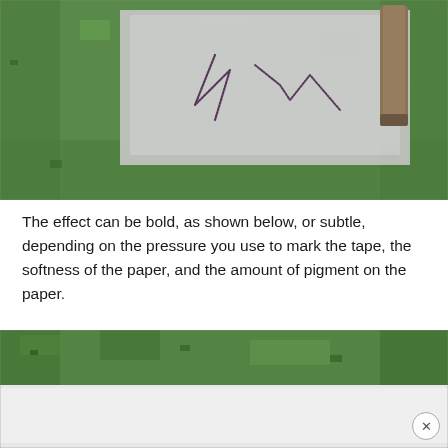[Figure (photo): Photo of a green textured surface (like grass or green paper) with a lighter gray paper sheet on top. On the gray paper, there are pencil or pen scribble marks forming zigzag/wave shapes. A rolled or folded brown paper tube is visible at the upper right.]
The effect can be bold, as shown below, or subtle, depending on the pressure you use to mark the tape, the softness of the paper, and the amount of pigment on the paper.
[Figure (photo): Partial photo showing the top portion of a green textured surface (similar to the upper photo) with a lighter/white area visible at the bottom, partially cut off.]